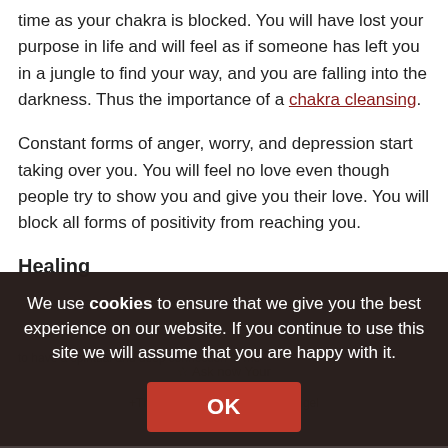time as your chakra is blocked. You will have lost your purpose in life and will feel as if someone has left you in a jungle to find your way, and you are falling into the darkness. Thus the importance of a chakra cleansing.
Constant forms of anger, worry, and depression start taking over you. You will feel no love even though people try to show you and give you their love. You will block all forms of positivity from reaching you.
Healing
We use cookies to ensure that we give you the best experience on our website. If you continue to use this site we will assume that you are happy with it.